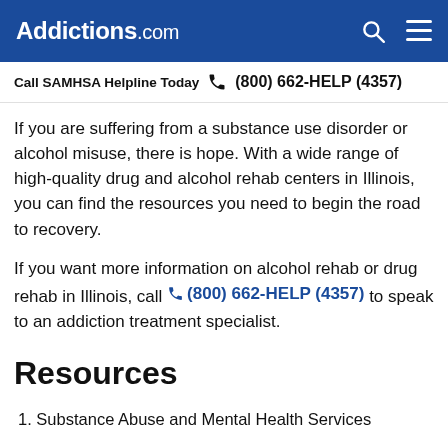Addictions.com
Call SAMHSA Helpline Today  (800) 662-HELP (4357)
If you are suffering from a substance use disorder or alcohol misuse, there is hope. With a wide range of high-quality drug and alcohol rehab centers in Illinois, you can find the resources you need to begin the road to recovery.
If you want more information on alcohol rehab or drug rehab in Illinois, call (800) 662-HELP (4357) to speak to an addiction treatment specialist.
Resources
1. Substance Abuse and Mental Health Services